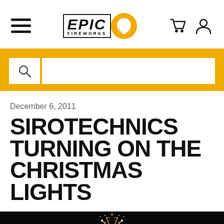Epic Fireworks — navigation header with hamburger menu, logo, cart and user icons
December 6, 2011
SIROTECHNICS TURNING ON THE CHRISTMAS LIGHTS
[Figure (photo): Fireworks exploding against a dark night sky, showing bright white and red bursts with trailing sparks forming tree-like shapes]